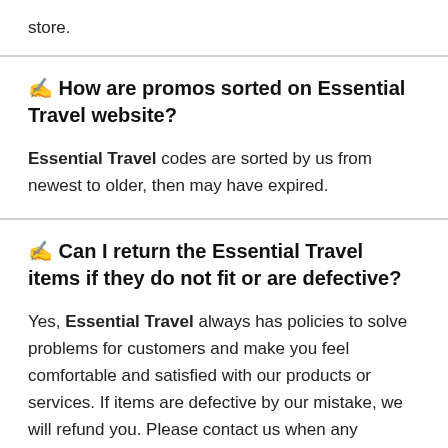store.
✍ How are promos sorted on Essential Travel website?
Essential Travel codes are sorted by us from newest to older, then may have expired.
✍ Can I return the Essential Travel items if they do not fit or are defective?
Yes, Essential Travel always has policies to solve problems for customers and make you feel comfortable and satisfied with our products or services. If items are defective by our mistake, we will refund you. Please contact us when any problems happen with you!